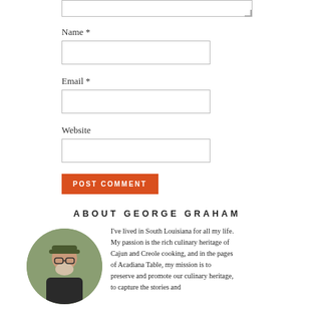Name *
Email *
Website
POST COMMENT
ABOUT GEORGE GRAHAM
I've lived in South Louisiana for all my life. My passion is the rich culinary heritage of Cajun and Creole cooking, and in the pages of Acadiana Table, my mission is to preserve and promote our culinary heritage, to capture the stories and